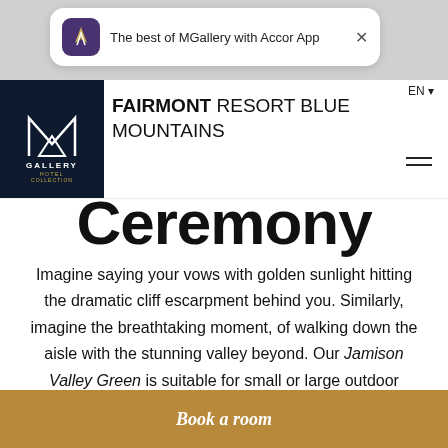[Figure (screenshot): App promotional banner with MGallery/Accor logo icon and close button]
FAIRMONT RESORT BLUE MOUNTAINS
Ceremony
Imagine saying your vows with golden sunlight hitting the dramatic cliff escarpment behind you. Similarly, imagine the breathtaking moment, of walking down the aisle with the stunning valley beyond. Our Jamison Valley Green is suitable for small or large outdoor ceremonies of up to 200 guests.
Book a room